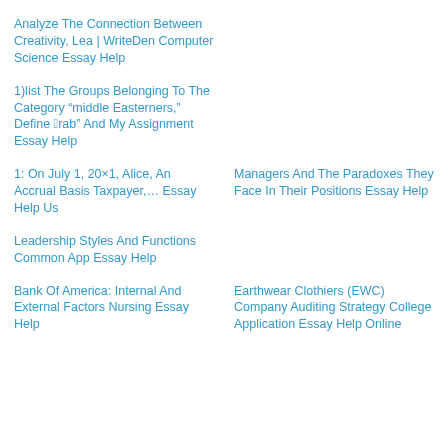Analyze The Connection Between Creativity, Lea | WriteDen Computer Science Essay Help
1)list The Groups Belonging To The Category “middle Easterners,” Define “arab” And My Assignment Essay Help
1: On July 1, 20×1, Alice, An Accrual Basis Taxpayer,… Essay Help Us
Managers And The Paradoxes They Face In Their Positions Essay Help
Leadership Styles And Functions Common App Essay Help
Bank Of America: Internal And External Factors Nursing Essay Help
Earthwear Clothiers (EWC) Company Auditing Strategy College Application Essay Help Online